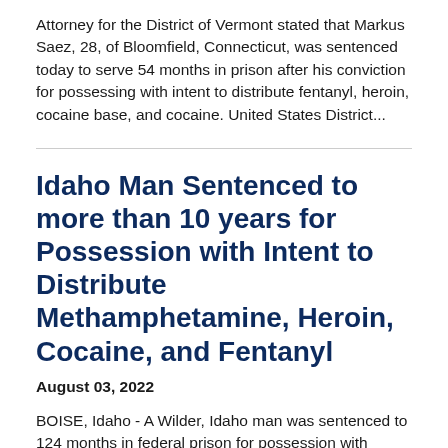Attorney for the District of Vermont stated that Markus Saez, 28, of Bloomfield, Connecticut, was sentenced today to serve 54 months in prison after his conviction for possessing with intent to distribute fentanyl, heroin, cocaine base, and cocaine. United States District...
Idaho Man Sentenced to more than 10 years for Possession with Intent to Distribute Methamphetamine, Heroin, Cocaine, and Fentanyl
August 03, 2022
BOISE, Idaho - A Wilder, Idaho man was sentenced to 124 months in federal prison for possession with